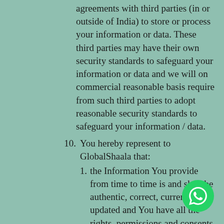agreements with third parties (in or outside of India) to store or process your information or data. These third parties may have their own security standards to safeguard your information or data and we will on commercial reasonable basis require from such third parties to adopt reasonable security standards to safeguard your information / data.
10. You hereby represent to GlobalShaala that:
1. the Information You provide from time to time is and shall be authentic, correct, current and updated and You have all the rights, permissions and consents as may be required to provide such Information to GlobalShaala.
2. Your providing the Information to GlobalShaala and GlobalShaala's consequent storage, collection, use, transfer, access or processing of the same shall not be in violation of any third party agreement, laws, charter